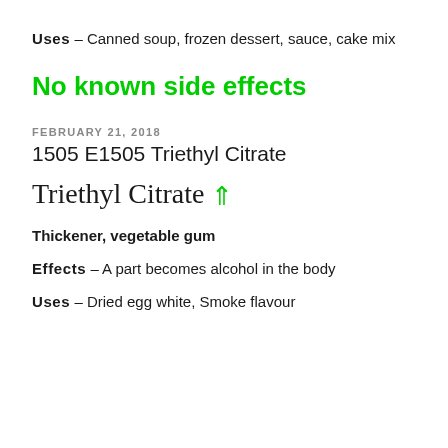Uses – Canned soup, frozen dessert, sauce, cake mix
No known side effects
FEBRUARY 21, 2018
1505 E1505 Triethyl Citrate
Triethyl Citrate ⇑
Thickener, vegetable gum
Effects – A part becomes alcohol in the body
Uses – Dried egg white, Smoke flavour